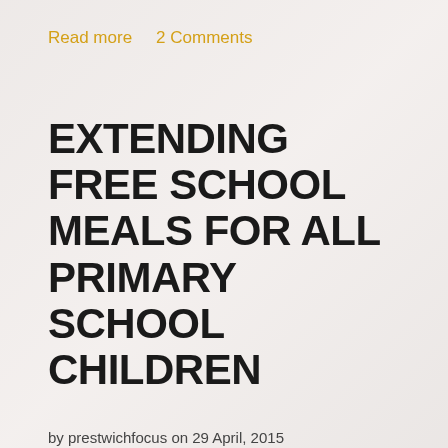Read more   2 Comments
EXTENDING FREE SCHOOL MEALS FOR ALL PRIMARY SCHOOL CHILDREN
by prestwichfocus on 29 April, 2015
All school children under the age of 11 will be entitled to free school meals under